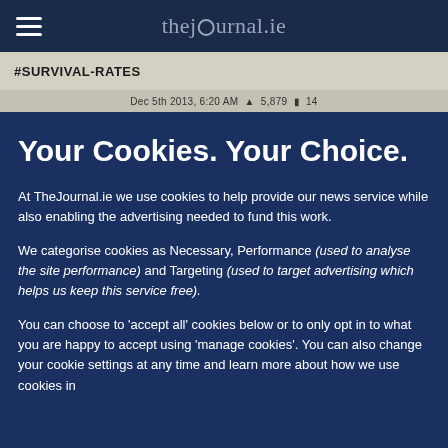thejournal.ie
#SURVIVAL-RATES
Dec 5th 2013, 6:20 AM  5,879  14
Your Cookies. Your Choice.
At TheJournal.ie we use cookies to help provide our news service while also enabling the advertising needed to fund this work.
We categorise cookies as Necessary, Performance (used to analyse the site performance) and Targeting (used to target advertising which helps us keep this service free).
You can choose to 'accept all' cookies below or to only opt in to what you are happy to accept using 'manage cookies'. You can also change your cookie settings at any time and learn more about how we use cookies in